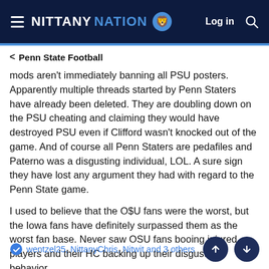NITTANY NATION — Log in
< Penn State Football
mods aren't immediately banning all PSU posters. Apparently multiple threads started by Penn Staters have already been deleted. They are doubling down on the PSU cheating and claiming they would have destroyed PSU even if Clifford wasn't knocked out of the game. And of course all Penn Staters are pedafiles and Paterno was a disgusting individual, LOL. A sure sign they have lost any argument they had with regard to the Penn State game.
I used to believe that the O$U fans were the worst, but the Iowa fans have definitely surpassed them as the worst fan base. Never saw OSU fans booing injured players and their HC backing up their disgusting behavior.
wentzel25, NittanyChris, Nitwit and 3 others